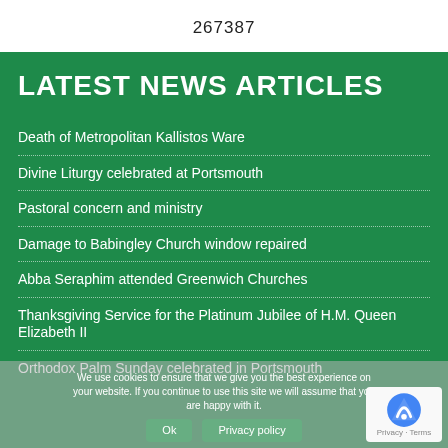267387
LATEST NEWS ARTICLES
Death of Metropolitan Kallistos Ware
Divine Liturgy celebrated at Portsmouth
Pastoral concern and ministry
Damage to Babingley Church window repaired
Abba Seraphim attended Greenwich Churches
Thanksgiving Service for the Platinum Jubilee of H.M. Queen Elizabeth II
Orthodox Palm Sunday celebrated in Portsmouth